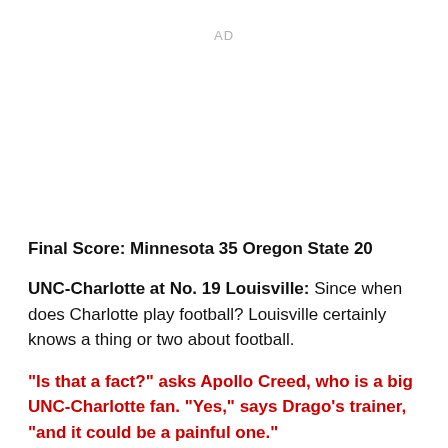AD
Final Score: Minnesota 35 Oregon State 20
UNC-Charlotte at No. 19 Louisville: Since when does Charlotte play football? Louisville certainly knows a thing or two about football.
"Is that a fact?" asks Apollo Creed, who is a big UNC-Charlotte fan. "Yes," says Drago's trainer, "and it could be a painful one."